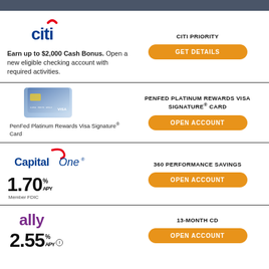[Figure (logo): Citi bank logo with red arc above blue 'citi' text]
Earn up to $2,000 Cash Bonus. Open a new eligible checking account with required activities.
CITI PRIORITY
[Figure (other): Orange rounded button: GET DETAILS]
[Figure (other): PenFed Platinum Rewards Visa Signature card image]
PenFed Platinum Rewards Visa Signature® Card
PENFED PLATINUM REWARDS VISA SIGNATURE® CARD
[Figure (other): Orange rounded button: OPEN ACCOUNT]
[Figure (logo): Capital One logo with red swoosh]
1.70% APY
Member FDIC
360 PERFORMANCE SAVINGS
[Figure (other): Orange rounded button: OPEN ACCOUNT]
[Figure (logo): Ally bank logo in purple]
2.55% APY
13-MONTH CD
[Figure (other): Orange rounded button: OPEN ACCOUNT]